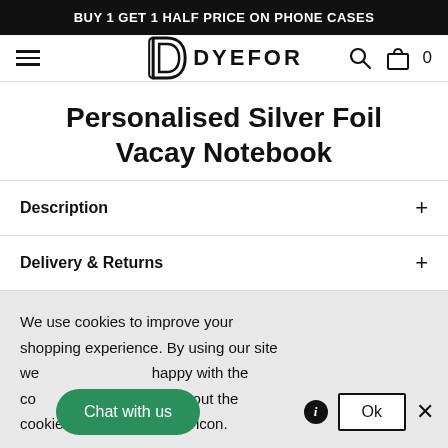BUY 1 GET 1 HALF PRICE ON PHONE CASES
[Figure (logo): Dyefor logo with stylized D icon and DYEFOR wordmark]
Personalised Silver Foil Vacay Notebook
Description
Delivery & Returns
We use cookies to improve your shopping experience. By using our site we happy with the co earn more about the cookies we set press the i icon.